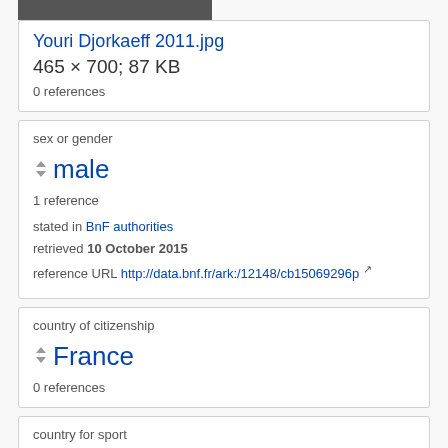[Figure (photo): Partial photo of Youri Djorkaeff at top of page]
Youri Djorkaeff 2011.jpg
465 × 700; 87 KB
0 references
sex or gender
male
1 reference
stated in BnF authorities
retrieved 10 October 2015
reference URL http://data.bnf.fr/ark:/12148/cb15069296p
country of citizenship
France
0 references
country for sport